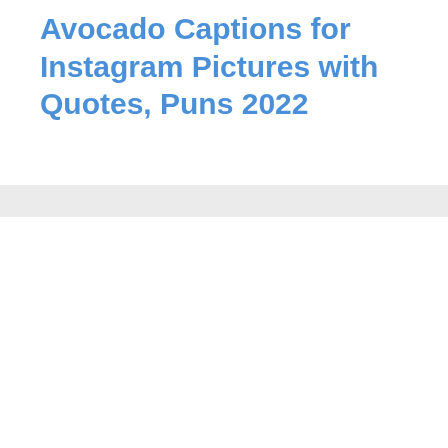Avocado Captions for Instagram Pictures with Quotes, Puns 2022